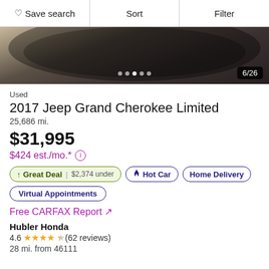Save search | Sort | Filter
[Figure (photo): Partial view of a car interior/exterior, dark tones, image counter showing 6/26, dot navigation indicators]
Used
2017 Jeep Grand Cherokee Limited
25,686 mi.
$31,995
$424 est./mo.*
↑ Great Deal | $2,374 under
🔥 Hot Car
Home Delivery
Virtual Appointments
Free CARFAX Report ↗
Hubler Honda
4.6 ★★★★½ (62 reviews)
28 mi. from 46111